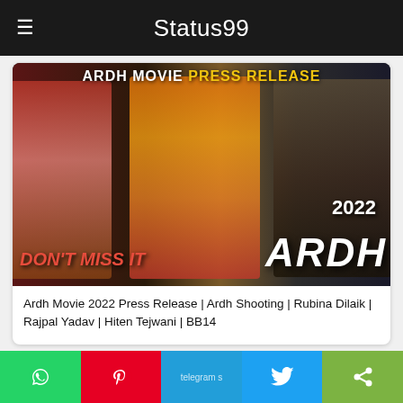Status99
[Figure (photo): Ardh Movie 2022 Press Release promotional collage showing actors in costume, with text 'ARDH MOVIE PRESS RELEASE', 'DON'T MISS IT', and '2022 ARDH' logo]
Ardh Movie 2022 Press Release | Ardh Shooting | Rubina Dilaik | Rajpal Yadav | Hiten Tejwani | BB14
[Figure (photo): Partial card showing avatar icon and movie/person thumbnail images]
WhatsApp | Pinterest | Telegram | Twitter | Share